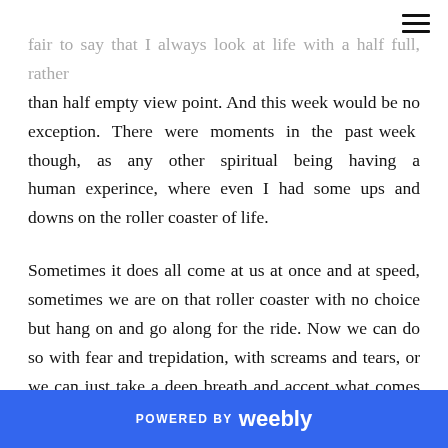fair to say that I always look at life with a half full, rather than half empty view point. And this week would be no exception. There were moments in the past week though, as any other spiritual being having a human experince, where even I had some ups and downs on the roller coaster of life.
Sometimes it does all come at us at once and at speed, sometimes we are on that roller coaster with no choice but hang on and go along for the ride. Now we can do so with fear and trepidation, with screams and tears, or we can just take a deep breath and accept what comes to us along the ride and do the best we can at any
POWERED BY weebly